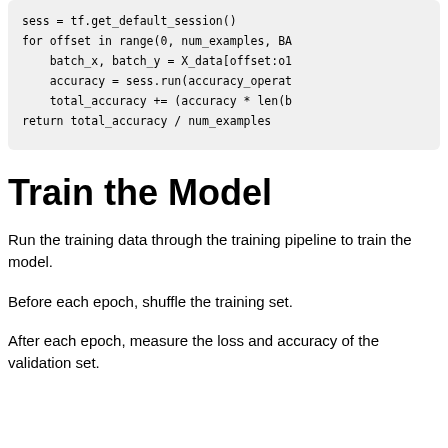sess = tf.get_default_session()
for offset in range(0, num_examples, BA
    batch_x, batch_y = X_data[offset:o1
    accuracy = sess.run(accuracy_operat
    total_accuracy += (accuracy * len(b
return total_accuracy / num_examples
Train the Model
Run the training data through the training pipeline to train the model.
Before each epoch, shuffle the training set.
After each epoch, measure the loss and accuracy of the validation set.